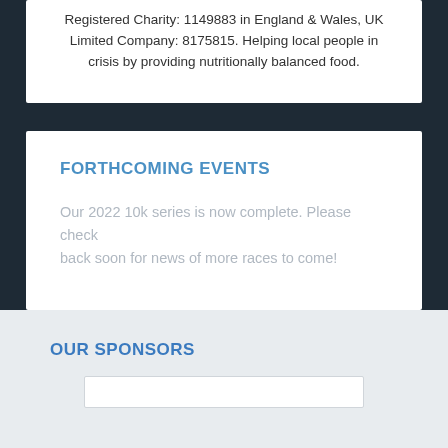Registered Charity: 1149883 in England & Wales, UK Limited Company: 8175815. Helping local people in crisis by providing nutritionally balanced food.
FORTHCOMING EVENTS
Our 2022 10k series is now complete. Please check back soon for news of more races to come!
OUR SPONSORS